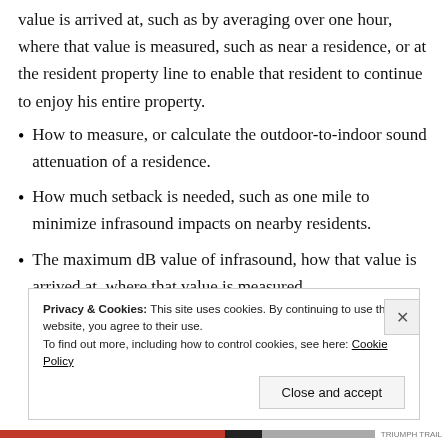value is arrived at, such as by averaging over one hour, where that value is measured, such as near a residence, or at the resident property line to enable that resident to continue to enjoy his entire property.
How to measure, or calculate the outdoor-to-indoor sound attenuation of a residence.
How much setback is needed, such as one mile to minimize infrasound impacts on nearby residents.
The maximum dB value of infrasound, how that value is arrived at, where that value is measured.
Privacy & Cookies: This site uses cookies. By continuing to use this website, you agree to their use.
To find out more, including how to control cookies, see here: Cookie Policy
Close and accept